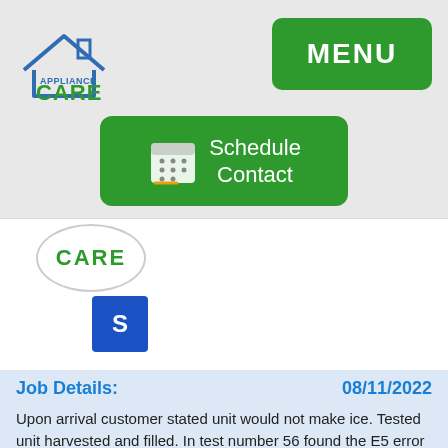[Figure (logo): Appliance Care logo with blue house outline and text 'APPLIANCE CARE' in blue and green]
[Figure (other): Green MENU button in top right corner]
[Figure (other): Green 'Schedule Contact' button with calendar icon in center of header area]
[Figure (other): CARE circular badge/avatar in white section]
[Figure (other): Blue square with letter S]
Job Details: 08/11/2022
Upon arrival customer stated unit would not make ice. Tested unit harvested and filled. In test number 56 found the E5 error code. Issue says we have a bad thermistor In the